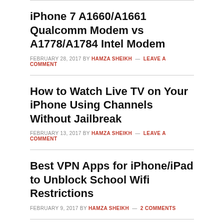iPhone 7 A1660/A1661 Qualcomm Modem vs A1778/A1784 Intel Modem
FEBRUARY 28, 2017 BY HAMZA SHEIKH — LEAVE A COMMENT
How to Watch Live TV on Your iPhone Using Channels Without Jailbreak
FEBRUARY 13, 2017 BY HAMZA SHEIKH — LEAVE A COMMENT
Best VPN Apps for iPhone/iPad to Unblock School Wifi Restrictions
FEBRUARY 9, 2017 BY HAMZA SHEIKH — 2 COMMENTS
Apple iPhone 7 Plus A1661 SIM-Free